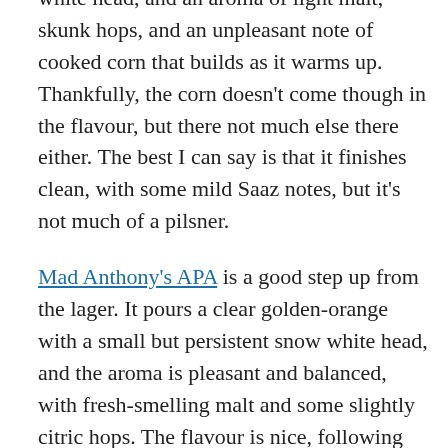white head, and an aroma of light malt, skunk hops, and an unpleasant note of cooked corn that builds as it warms up. Thankfully, the corn doesn't come though in the flavour, but there not much else there either. The best I can say is that it finishes clean, with some mild Saaz notes, but it's not much of a pilsner.
Mad Anthony's APA is a good step up from the lager. It pours a clear golden-orange with a small but persistent snow white head, and the aroma is pleasant and balanced, with fresh-smelling malt and some slightly citric hops. The flavour is nice, following on the aroma with a good balance of sweet malt and tangy hops, and a good finish. The body is a bit thin, but the crispness makes it an enjoyable quaffer.
From there, things take a bit of a dip with the Railbender Ale. The appearance is OK, with a